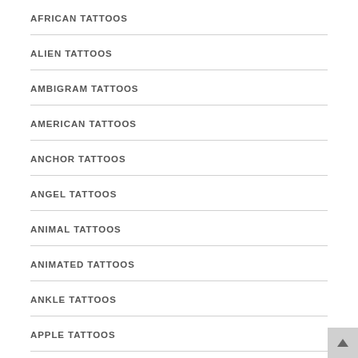AFRICAN TATTOOS
ALIEN TATTOOS
AMBIGRAM TATTOOS
AMERICAN TATTOOS
ANCHOR TATTOOS
ANGEL TATTOOS
ANIMAL TATTOOS
ANIMATED TATTOOS
ANKLE TATTOOS
APPLE TATTOOS
AQUA TATTOOS